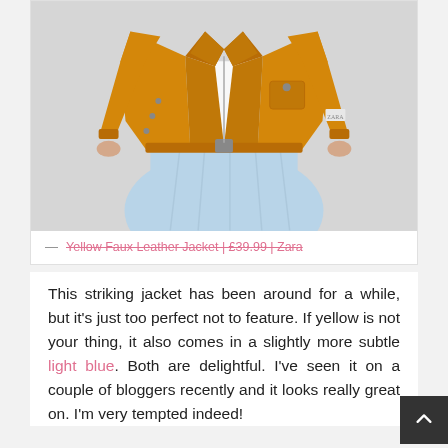[Figure (photo): A model wearing a yellow faux leather biker jacket over a light blue skirt against a light grey background. The photo is cropped to show the torso and upper legs area.]
— Yellow Faux Leather Jacket | £39.99 | Zara
This striking jacket has been around for a while, but it's just too perfect not to feature. If yellow is not your thing, it also comes in a slightly more subtle light blue. Both are delightful. I've seen it on a couple of bloggers recently and it looks really great on. I'm very tempted indeed!